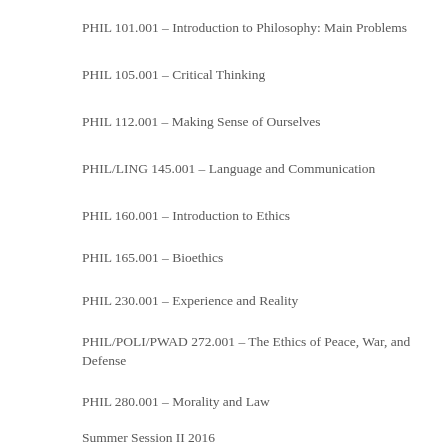PHIL 101.001 – Introduction to Philosophy: Main Problems
PHIL 105.001 – Critical Thinking
PHIL 112.001 – Making Sense of Ourselves
PHIL/LING 145.001 – Language and Communication
PHIL 160.001 – Introduction to Ethics
PHIL 165.001 – Bioethics
PHIL 230.001 – Experience and Reality
PHIL/POLI/PWAD 272.001 – The Ethics of Peace, War, and Defense
PHIL 280.001 – Morality and Law
Summer Session II 2016